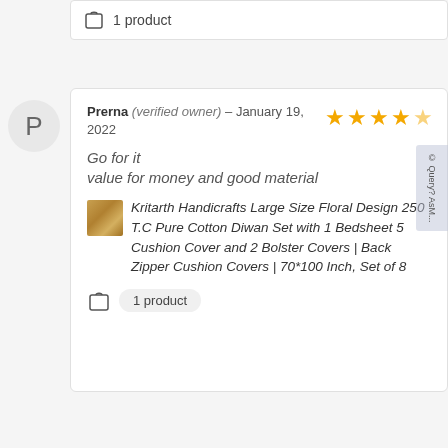1 product
Prerna (verified owner) – January 19, 2022
[Figure (other): 4.5 star rating shown with gold stars]
Go for it
value for money and good material
Kritarth Handicrafts Large Size Floral Design 250 T.C Pure Cotton Diwan Set with 1 Bedsheet 5 Cushion Cover and 2 Bolster Covers | Back Zipper Cushion Covers | 70*100 Inch, Set of 8
1 product